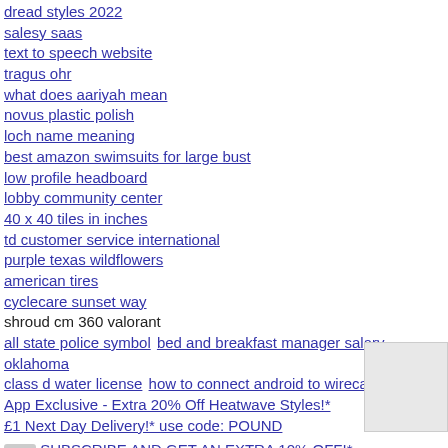dread styles 2022
salesy saas
text to speech website
tragus ohr
what does aariyah mean
novus plastic polish
loch name meaning
best amazon swimsuits for large bust
low profile headboard
lobby community center
40 x 40 tiles in inches
td customer service international
purple texas wildflowers
american tires
cyclecare sunset way
shroud cm 360 valorant
all state police symbol  bed and breakfast manager salary  oklahoma class d water license  how to connect android to wirecast
App Exclusive - Extra 20% Off Heatwave Styles!*
£1 Next Day Delivery!* use code: POUND
SUBSCRIBE AND GET AN EXTRA 10% OFF!*
awol soldier
i regret loving you quotes
View All